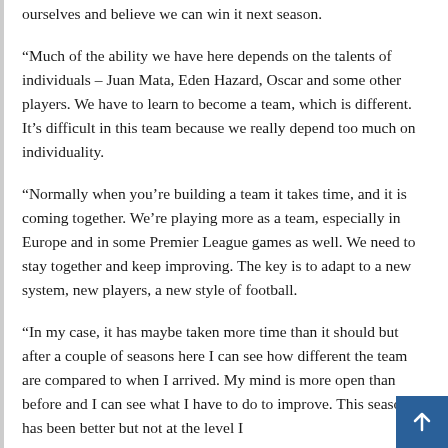ourselves and believe we can win it next season.
“Much of the ability we have here depends on the talents of individuals – Juan Mata, Eden Hazard, Oscar and some other players. We have to learn to become a team, which is different. It’s difficult in this team because we really depend too much on individuality.
“Normally when you’re building a team it takes time, and it is coming together. We’re playing more as a team, especially in Europe and in some Premier League games as well. We need to stay together and keep improving. The key is to adapt to a new system, new players, a new style of football.
“In my case, it has maybe taken more time than it should but after a couple of seasons here I can see how different the team are compared to when I arrived. My mind is more open than before and I can see what I have to do to improve. This season has been better but not at the level I